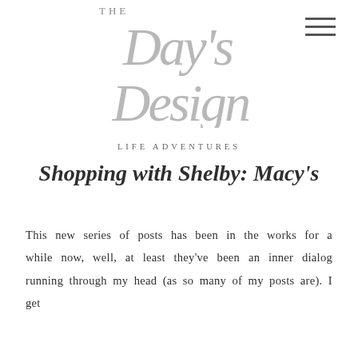[Figure (logo): The Day's Design blog logo in cursive/script calligraphy style with 'THE' in small caps above the script text 'Day's Design']
LIFE ADVENTURES
Shopping with Shelby: Macy's
This new series of posts has been in the works for a while now, well, at least they've been an inner dialog running through my head (as so many of my posts are). I get